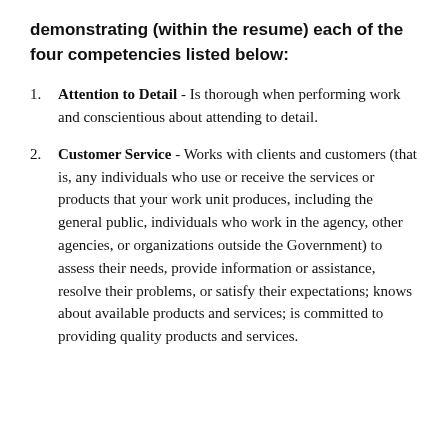demonstrating (within the resume) each of the four competencies listed below:
Attention to Detail - Is thorough when performing work and conscientious about attending to detail.
Customer Service - Works with clients and customers (that is, any individuals who use or receive the services or products that your work unit produces, including the general public, individuals who work in the agency, other agencies, or organizations outside the Government) to assess their needs, provide information or assistance, resolve their problems, or satisfy their expectations; knows about available products and services; is committed to providing quality products and services.